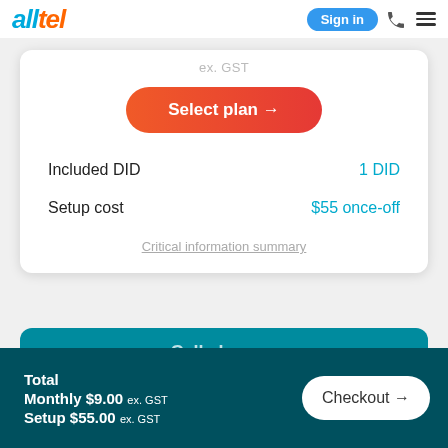alltel — Sign in
ex. GST
Select plan →
Included DID — 1 DID
Setup cost — $55 once-off
Critical information summary
Call charges
Total Monthly $9.00 ex. GST  Setup $55.00 ex. GST  Checkout →